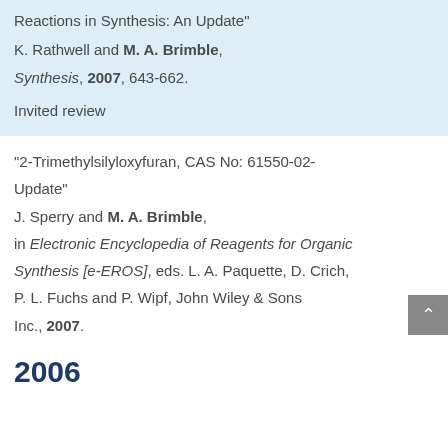Reactions in Synthesis: An Update"
K. Rathwell and M. A. Brimble,
Synthesis, 2007, 643-662.

Invited review
"2-Trimethylsilyloxyfuran, CAS No: 61550-02-Update"
J. Sperry and M. A. Brimble,
in Electronic Encyclopedia of Reagents for Organic Synthesis [e-EROS], eds. L. A. Paquette, D. Crich, P. L. Fuchs and P. Wipf, John Wiley & Sons Inc., 2007.
2006